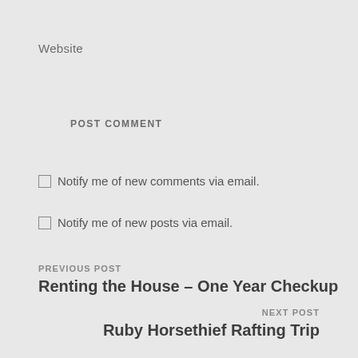Website
POST COMMENT
Notify me of new comments via email.
Notify me of new posts via email.
PREVIOUS POST
Renting the House – One Year Checkup
NEXT POST
Ruby Horsethief Rafting Trip